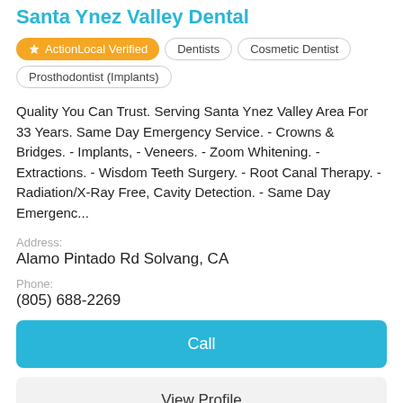Santa Ynez Valley Dental
ActionLocal Verified
Dentists
Cosmetic Dentist
Prosthodontist (Implants)
Quality You Can Trust. Serving Santa Ynez Valley Area For 33 Years. Same Day Emergency Service. - Crowns & Bridges. - Implants, - Veneers. - Zoom Whitening. - Extractions. - Wisdom Teeth Surgery. - Root Canal Therapy. - Radiation/X-Ray Free, Cavity Detection. - Same Day Emergenc...
Address:
Alamo Pintado Rd Solvang, CA
Phone:
(805) 688-2269
Call
View Profile
[Figure (logo): Aloha Dental Arts logo thumbnail — dark background with white text]